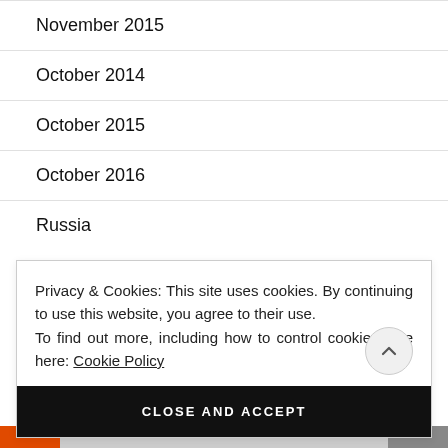November 2015
October 2014
October 2015
October 2016
Russia
Privacy & Cookies: This site uses cookies. By continuing to use this website, you agree to their use.
To find out more, including how to control cookies, see here: Cookie Policy
CLOSE AND ACCEPT